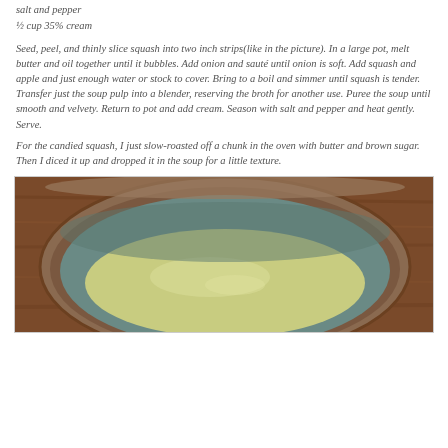salt and pepper
½ cup 35% cream
Seed, peel, and thinly slice squash into two inch strips(like in the picture). In a large pot, melt butter and oil together until it bubbles. Add onion and sauté until onion is soft. Add squash and apple and just enough water or stock to cover. Bring to a boil and simmer until squash is tender. Transfer just the soup pulp into a blender, reserving the broth for another use. Puree the soup until smooth and velvety. Return to pot and add cream. Season with salt and pepper and heat gently. Serve.
For the candied squash, I just slow-roasted off a chunk in the oven with butter and brown sugar. Then I diced it up and dropped it in the soup for a little texture.
[Figure (photo): A ceramic bowl with blue-green glaze containing pale yellow-green squash soup, placed on a wooden surface.]